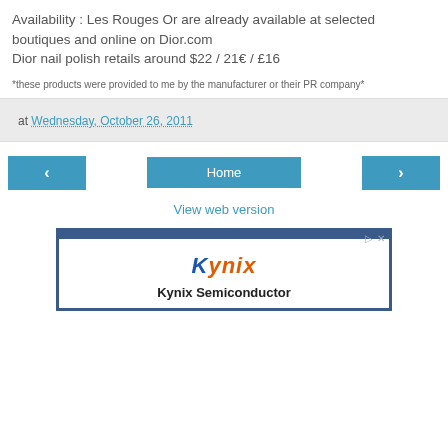Availability : Les Rouges Or are already available at selected boutiques and online on Dior.com
Dior nail polish retails around $22 / 21€ / £16
*these products were provided to me by the manufacturer or their PR company*
at Wednesday, October 26, 2011
[Figure (screenshot): Navigation buttons: left arrow, Home button, right arrow, and View web version link]
[Figure (screenshot): Advertisement for Kynix Semiconductor showing the Kynix logo in orange and blue italic text and the text 'Kynix Semiconductor' below it]